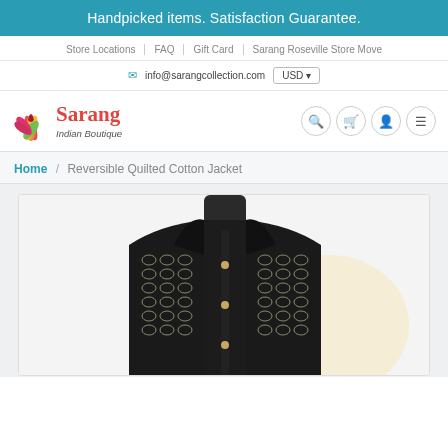Handpicked items. Satisfaction Guarantee.
Store Locations | FAQ | Gift Card | Sarang Roseville Store Move
info@sarangcollection.com  USD
[Figure (logo): Sarang Indian Boutique logo with lotus flower icon in red, pink, orange, yellow, green colors, brand name in red script font, tagline in italic]
Home / Reversible Quilted Cotton Jacket
[Figure (photo): Photo of a reversible quilted cotton jacket displayed on a mannequin. The jacket features a geometric quilted pattern in dark/black and silver/white. It has a standing collar and is shown from the front.]